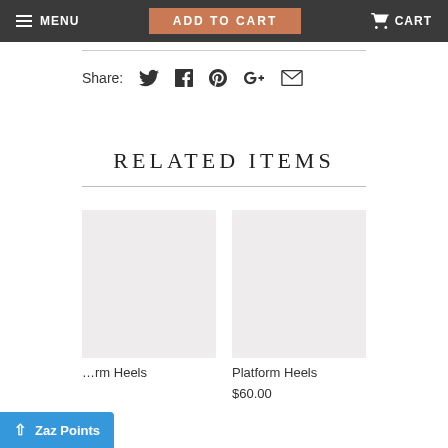MENU  ADD TO CART  CART
Share:
RELATED ITEMS
[Figure (photo): Product image placeholder (light gray square) for first related item]
...rm Heels
[Figure (photo): Product image placeholder (light gray square) for second related item]
Platform Heels
$60.00
Zaz Points